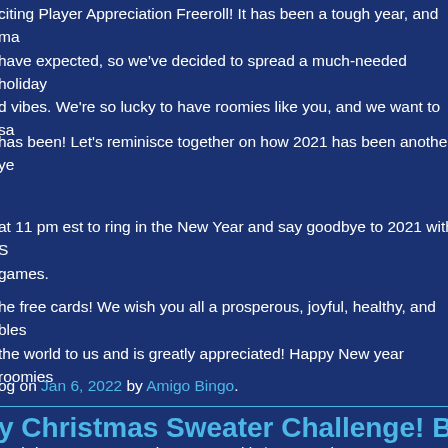citing Player Appreciation Freeroll! It has been a tough year, and many have expected, so we've decided to spread a much-needed holiday d vibes. We're so lucky to have roomies like you, and we want to sa
has been! Let's reminisce together on how 2021 has been another ye
at 11 pm est to ring in the New Year and say goodbye to 2021 with S games.
he free cards! We wish you all a prosperous, joyful, healthy, and bles the world to us and is greatly appreciated! Happy New year roomies
og on Jan 6, 2022 by Amigo Bingo.
y Christmas Sweater Challenge! B
y Christmas Sweater Bingo Party with $250,000 in CASH JACKPOT